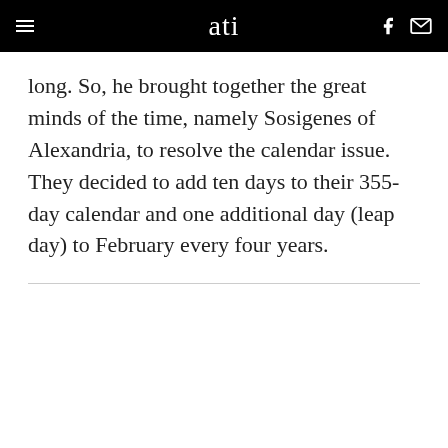ati
long. So, he brought together the great minds of the time, namely Sosigenes of Alexandria, to resolve the calendar issue. They decided to add ten days to their 355-day calendar and one additional day (leap day) to February every four years.